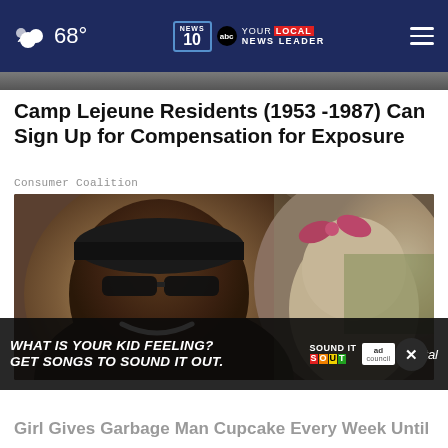68° — NEWS 10 abc YOUR LOCAL NEWS LEADER
Camp Lejeune Residents (1953 -1987) Can Sign Up for Compensation for Exposure
Consumer Coalition
[Figure (photo): A smiling man wearing sunglasses and a dark cap, posing with a young girl wearing a pink hair bow]
[Figure (photo): Advertisement overlay: WHAT IS YOUR KID FEELING? GET SONGS TO SOUND IT OUT. Sound It Out, Ad Council, Pivotal]
Girl Gives Garbage Man Cupcake Every Week Until